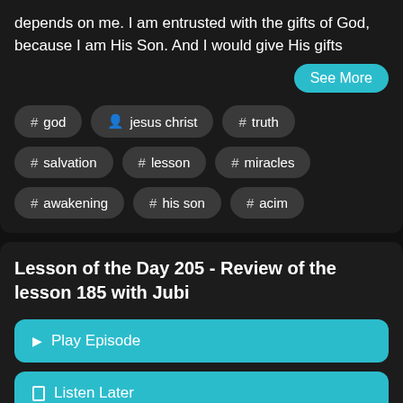depends on me. I am entrusted with the gifts of God, because I am His Son. And I would give His gifts
See More
# god
jesus christ
# truth
# salvation
# lesson
# miracles
# awakening
# his son
# acim
Lesson of the Day 205 - Review of the lesson 185 with Jubi
Play Episode
Listen Later
Jul 24, 2022
58:09